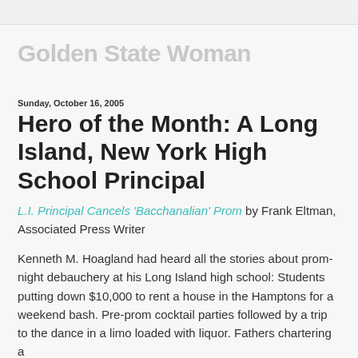Golden State Woman
Sunday, October 16, 2005
Hero of the Month: A Long Island, New York High School Principal
L.I. Principal Cancels 'Bacchanalian' Prom by Frank Eltman, Associated Press Writer
Kenneth M. Hoagland had heard all the stories about prom-night debauchery at his Long Island high school: Students putting down $10,000 to rent a house in the Hamptons for a weekend bash. Pre-prom cocktail parties followed by a trip to the dance in a limo loaded with liquor. Fathers chartering a